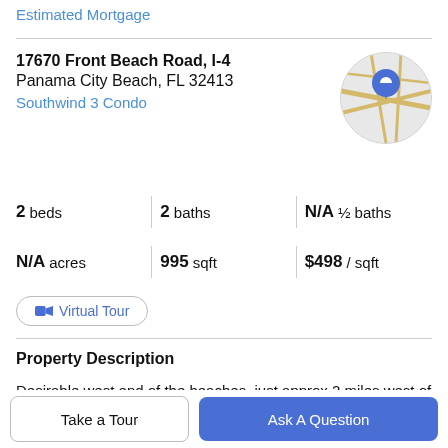Estimated Mortgage
17670 Front Beach Road, I-4
Panama City Beach, FL 32413
Southwind 3 Condo
[Figure (map): Circular map thumbnail with a blue location pin marker]
2 beds | 2 baths | N/A ½ baths
N/A acres | 995 sqft | $498 / sqft
Virtual Tour
Property Description
Desirable west end of the beaches, just approx 2 miles west of Pier Park. Southwind has recently undergone a
Take a Tour
Ask A Question